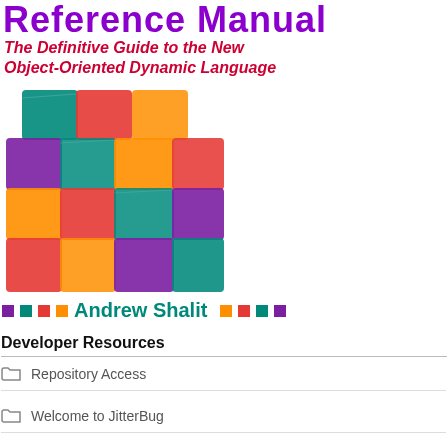Reference Manual
The Definitive Guide to the New Object-Oriented Dynamic Language
[Figure (illustration): Colorful patchwork grid of crayon-textured squares in teal, red, orange, purple arranged in a 4x4 pattern on a white background]
Andrew Shalit
Developer Resources
Repository Access
Welcome to JitterBug